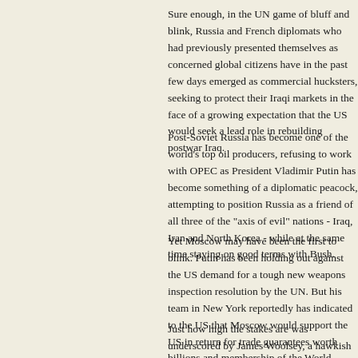Sure enough, in the UN game of bluff and blink, Russia and French diplomats who had previously presented themselves as concerned global citizens have in the past few days emerged as commercial hucksters, seeking to protect their Iraqi markets in the face of a growing expectation that the US would seek a lead role in rebuilding postwar Iraq.
Post-Soviet Russia has become one of the world's top oil producers, refusing to work with OPEC as President Vladimir Putin has become something of a diplomatic peacock, attempting to position Russia as a friend of all three of the "axis of evil" nations - Iraq, Iran and North Korea - while at the same time staying on good terms with Bush.
Yet Moscow may have been the first to blink. Putin has been holding out against the US demand for a tough new weapons inspection resolution by the UN. But his team in New York reportedly has indicated to the US that Moscow would support the US in return for trade guarantees worth billions and membership of the World Trade Organisation. Russia is owed more than $US7 billion by Iraq in pre-Gulf War debt and it closed a $US40 billion, long-term trade deal with Baghdad.
Just how high the stakes are was underscored by James Woolsey, a hawkish former CIA director who is close to Iraqi opposition groups, when he told The Washington Post: It's pretty straightforward. France and Russia have oil companies and interests in Iraq. They should be told that if they are of assistance in moving Iraq towards decent government, we'll do the best we can to ensure the new government and American companies work closely with them. If they throw in their lot with Saddam, it will be difficult, to the point of impossible, to expect the new Iraqi government to work with them."
The US-backed Iraqi National Congress opposition group is letting it be known that it wants to review all deals done with Saddam. The group's chairman, Ahmed Chalabi, has...